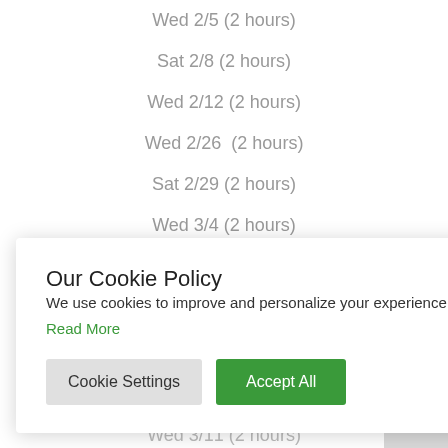Wed 2/5 (2 hours)
Sat 2/8 (2 hours)
Wed 2/12 (2 hours)
Wed 2/26  (2 hours)
Sat 2/29 (2 hours)
Wed 3/4 (2 hours)
Sat 3/7 (2 hours)
Our Cookie Policy
We use cookies to improve and personalize your experience on our site.
Read More
Cookie Settings
Accept All
Wed 3/11 (2 hours)